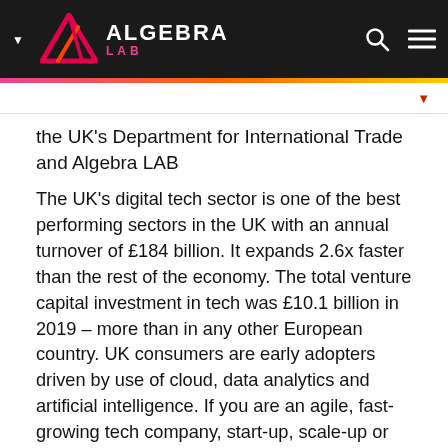ALGEBRA LAB
the UK's Department for International Trade and Algebra LAB
The UK's digital tech sector is one of the best performing sectors in the UK with an annual turnover of £184 billion. It expands 2.6x faster than the rest of the economy. The total venture capital investment in tech was £10.1 billion in 2019 – more than in any other European country. UK consumers are early adopters driven by use of cloud, data analytics and artificial intelligence. If you are an agile, fast-growing tech company, start-up, scale-up or SME interested in setting up in the...